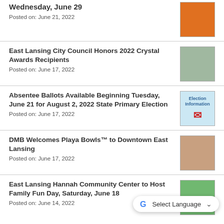Wednesday, June 29
Posted on: June 21, 2022
East Lansing City Council Honors 2022 Crystal Awards Recipients
Posted on: June 17, 2022
Absentee Ballots Available Beginning Tuesday, June 21 for August 2, 2022 State Primary Election
Posted on: June 17, 2022
DMB Welcomes Playa Bowls™ to Downtown East Lansing
Posted on: June 17, 2022
East Lansing Hannah Community Center to Host Family Fun Day, Saturday, June 18
Posted on: June 14, 2022